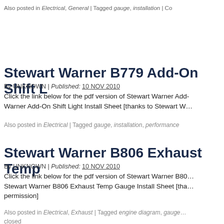Also posted in Electrical, General | Tagged gauge, installation | Co
Stewart Warner B779 Add-On Shift L
By UNKNOWN | Published: 10 NOV 2010
Click the link below for the pdf version of Stewart Warner Add-On Warner Add-On Shift Light Install Sheet [thanks to Stewart W...
Also posted in Electrical | Tagged gauge, installation, performance
Stewart Warner B806 Exhaust Temp
By UNKNOWN | Published: 10 NOV 2010
Click the link below for the pdf version of Stewart Warner B80... Stewart Warner B806 Exhaust Temp Gauge Install Sheet [tha... permission]
Also posted in Electrical, Exhaust | Tagged engine diagram, gauge... closed